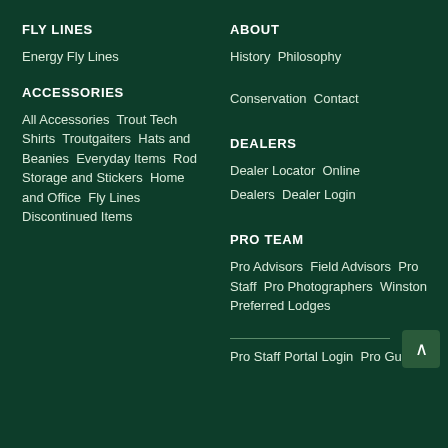FLY LINES
Energy Fly Lines
ACCESSORIES
All Accessories  Trout Tech Shirts  Troutgaiters  Hats and Beanies  Everyday Items  Rod Storage and Stickers  Home and Office  Fly Lines  Discontinued Items
ABOUT
History  Philosophy
Conservation  Contact
DEALERS
Dealer Locator  Online Dealers  Dealer Login
PRO TEAM
Pro Advisors  Field Advisors  Pro Staff  Pro Photographers  Winston Preferred Lodges
Pro Staff Portal Login  Pro Guide